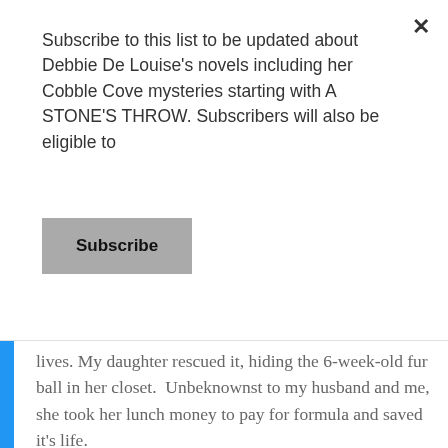Subscribe to this list to be updated about Debbie De Louise's novels including her Cobble Cove mysteries starting with A STONE'S THROW. Subscribers will also be eligible to
Subscribe
lives. My daughter rescued it, hiding the 6-week-old fur ball in her closet.  Unbeknownst to my husband and me, she took her lunch money to pay for formula and saved it's life.
Looking back, I thought the increased interest in her room by our dogs was odd but dismissed it for wanting to get in the room to scavenge for crumbs and candy wrappers.
I'm sure that by now, dear reader, you are